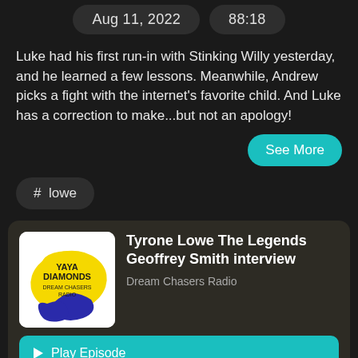Aug 11, 2022    88:18
Luke had his first run-in with Stinking Willy yesterday, and he learned a few lessons. Meanwhile, Andrew picks a fight with the internet's favorite child. And Luke has a correction to make...but not an apology!
See More
# lowe
Tyrone Lowe The Legends Geoffrey Smith interview
Dream Chasers Radio
Play Episode
Listen Later